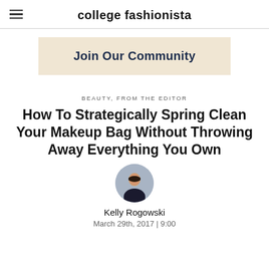college fashionista
[Figure (other): Join Our Community banner with beige/cream background]
BEAUTY, FROM THE EDITOR
How To Strategically Spring Clean Your Makeup Bag Without Throwing Away Everything You Own
[Figure (photo): Circular author photo of Kelly Rogowski]
Kelly Rogowski
March 29th, 2017 | 9:00